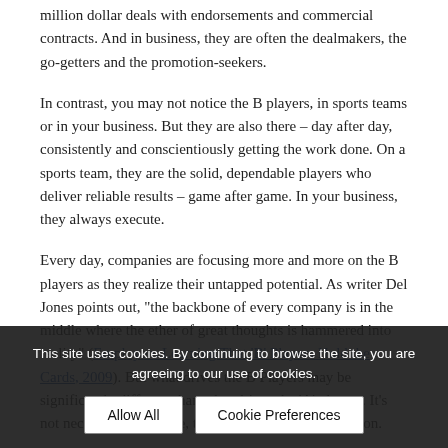million dollar deals with endorsements and commercial contracts. And in business, they are often the dealmakers, the go-getters and the promotion-seekers.
In contrast, you may not notice the B players, in sports teams or in your business. But they are also there – day after day, consistently and conscientiously getting the work done. On a sports team, they are the solid, dependable players who deliver reliable results – game after game. In your business, they always execute.
Every day, companies are focusing more and more on the B players as they realize their untapped potential. As writer Del Jones points out, "the backbone of every company is in the middle where the ether of great thoughts is hammered into reality" (Employers Learning That 'B' Players Hold the Cards, 2009). But what drives the B Players may be significantly different than what drives the 'A' players. It's not necessarily the fame, the money or even the position.
According to ... players are embedded in both their jobs and in ... ces.
This site uses cookies. By continuing to browse the site, you are agreeing to our use of cookies.